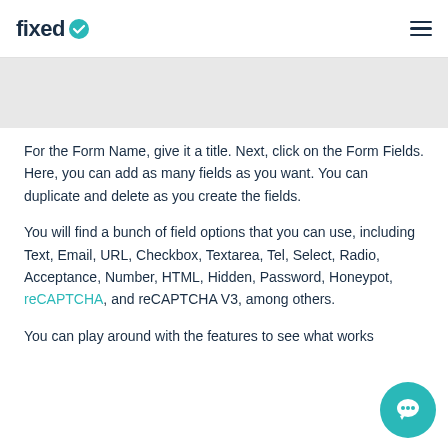fixed
[Figure (other): Gray banner/image area below header]
For the Form Name, give it a title. Next, click on the Form Fields. Here, you can add as many fields as you want. You can duplicate and delete as you create the fields.
You will find a bunch of field options that you can use, including Text, Email, URL, Checkbox, Textarea, Tel, Select, Radio, Acceptance, Number, HTML, Hidden, Password, Honeypot, reCAPTCHA, and reCAPTCHA V3, among others.
You can play around with the features to see what works and what you can add to your contact form. The